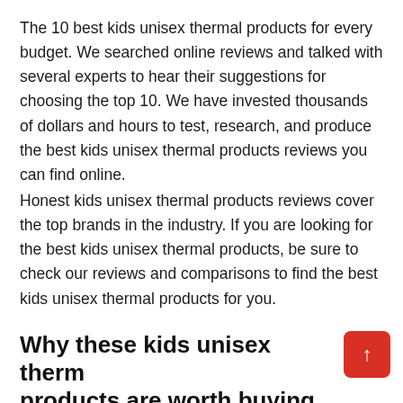The 10 best kids unisex thermal products for every budget. We searched online reviews and talked with several experts to hear their suggestions for choosing the top 10. We have invested thousands of dollars and hours to test, research, and produce the best kids unisex thermal products reviews you can find online.
Honest kids unisex thermal products reviews cover the top brands in the industry. If you are looking for the best kids unisex thermal products, be sure to check our reviews and comparisons to find the best kids unisex thermal products for you.
Why these kids unisex therm… products are worth buying